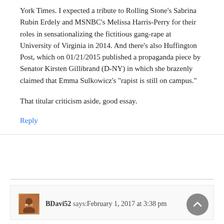York Times. I expected a tribute to Rolling Stone's Sabrina Rubin Erdely and MSNBC's Melissa Harris-Perry for their roles in sensationalizing the fictitious gang-rape at University of Virginia in 2014. And there's also Huffington Post, which on 01/21/2015 published a propaganda piece by Senator Kirsten Gillibrand (D-NY) in which she brazenly claimed that Emma Sulkowicz's “rapist is still on campus.”
That titular criticism aside, good essay.
Reply
BDavi52 says: February 1, 2017 at 3:38 pm